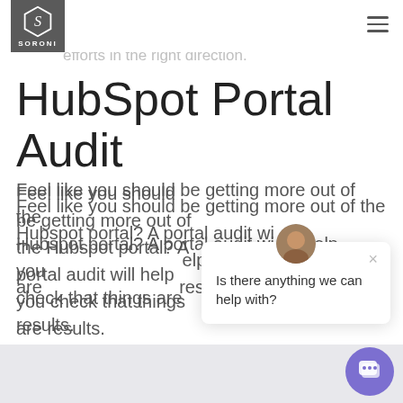SORONI logo and navigation
an additional set of experienced eyes. Our consultant will help you steer your Hubspot marketing efforts in the right direction.
HubSpot Portal Audit
Feel like you should be getting more out of the Hubspot portal? A portal audit will help you check that things are set up to deliver results.
[Figure (screenshot): Chat popup widget with avatar photo, close button (×), and message 'Is there anything we can help with?', plus a purple circular chat bubble button in the bottom right corner.]